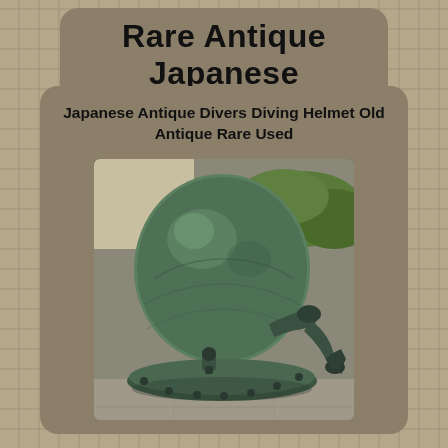Rare Antique Japanese
Japanese Antique Divers Diving Helmet Old Antique Rare Used
[Figure (photo): Antique Japanese diver's diving helmet, green patinated metal, viewed from behind, showing valves and collar flange, placed on pavement outdoors with greenery in background.]